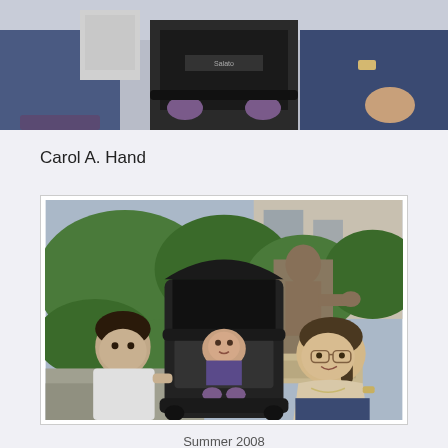[Figure (photo): Cropped top portion of a photo showing a stroller with a baby and adults sitting around it, viewed from above/close up.]
Carol A. Hand
[Figure (photo): Outdoor photo of a woman with glasses crouching next to a stroller with a baby inside, and a young boy on the left. A bronze statue and green shrubs are visible in the background.]
Summer 2008